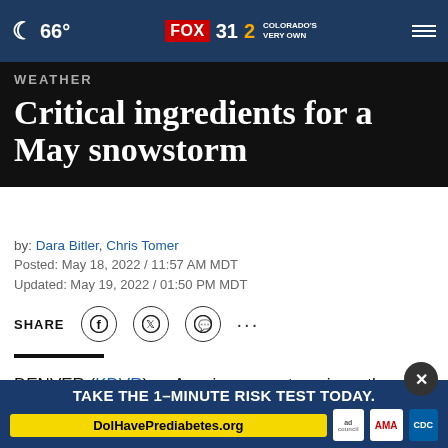66° | FOX 31 2 COLORADO'S VERY OWN
WEATHER
Critical ingredients for a May snowstorm
by: Dara Bitler, Chris Tomer
Posted: May 18, 2022 / 11:57 AM MDT
Updated: May 19, 2022 / 01:50 PM MDT
SHARE
DENVER (KDVR) — A spring snowstorm is on the way to Colorado. The Pinpoint Weather Team has issued a Pinp
TAKE THE 1-MINUTE RISK TEST TODAY.
DolHavePrediabetes.org